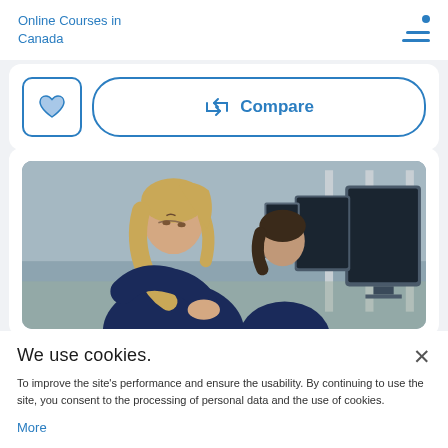Online Courses in Canada
[Figure (screenshot): Heart/favorite button and Compare button with arrows icon]
[Figure (photo): Students (mostly female) working at computers in a classroom setting, looking at monitors]
We use cookies.
To improve the site's performance and ensure the usability. By continuing to use the site, you consent to the processing of personal data and the use of cookies.
More